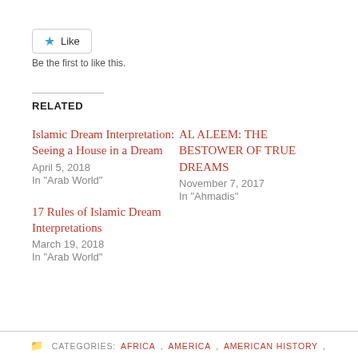[Figure (other): Like button with blue star icon and 'Like' text, bordered button element]
Be the first to like this.
RELATED
Islamic Dream Interpretation: Seeing a House in a Dream
April 5, 2018
In "Arab World"
AL ALEEM: THE BESTOWER OF TRUE DREAMS
November 7, 2017
In "Ahmadis"
17 Rules of Islamic Dream Interpretations
March 19, 2018
In "Arab World"
CATEGORIES: AFRICA, AMERICA, AMERICAN HISTORY,